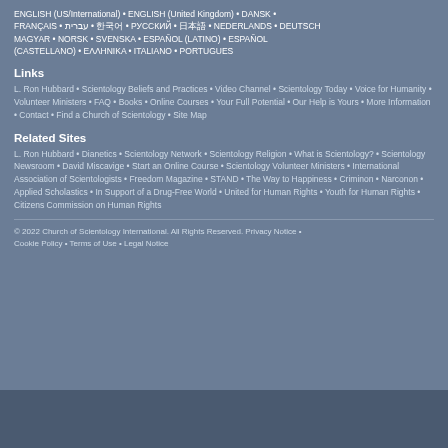ENGLISH (US/International) • ENGLISH (United Kingdom) • DANSK • FRANÇAIS • עברית • 한국어 • РУССКИЙ • 日本語 • NEDERLANDS • DEUTSCH MAGYAR • NORSK • SVENSKA • ESPAÑOL (LATINO) • ESPAÑOL (CASTELLANO) • ΕΛΛΗΝΙΚΑ • ITALIANO • PORTUGUES
Links
L. Ron Hubbard • Scientology Beliefs and Practices • Video Channel • Scientology Today • Voice for Humanity • Volunteer Ministers • FAQ • Books • Online Courses • Your Full Potential • Our Help is Yours • More Information • Contact • Find a Church of Scientology • Site Map
Related Sites
L. Ron Hubbard • Dianetics • Scientology Network • Scientology Religion • What is Scientology? • Scientology Newsroom • David Miscavige • Start an Online Course • Scientology Volunteer Ministers • International Association of Scientologists • Freedom Magazine • STAND • The Way to Happiness • Criminon • Narconon • Applied Scholastics • In Support of a Drug-Free World • United for Human Rights • Youth for Human Rights • Citizens Commission on Human Rights
© 2022 Church of Scientology International. All Rights Reserved. Privacy Notice • Cookie Policy • Terms of Use • Legal Notice
Age of Answers: Your First Step TAKE A FREE ONLINE PERSONALITY TEST »